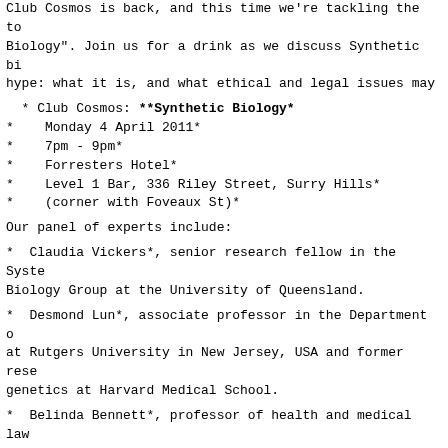Club Cosmos is back, and this time we're tackling the topic of "Synthetic Biology". Join us for a drink as we discuss Synthetic bio hype: what it is, and what ethical and legal issues may a
* Club Cosmos: **Synthetic Biology*
*   Monday 4 April 2011*
*   7pm - 9pm*
*   Forresters Hotel*
*   Level 1 Bar, 336 Riley Street, Surry Hills*
*   (corner with Foveaux St)*
Our panel of experts include:
*  Desmond Lun*, associate professor in the Department of at Rutgers University in New Jersey, USA and former resea genetics at Harvard Medical School.
*  Claudia Vickers*, senior research fellow in the Syste Biology Group at the University of Queensland.
*  Belinda Bennett*, professor of health and medical law University and member of the National Medical Board of Au
Hosted by COSMOS editor Wilson da Silva. And there's fabu prizes to win!
We'd love to see you there!
Attendance is free but be sure to book on here -
http://clubcosmos4.eventbrite.com/
next part